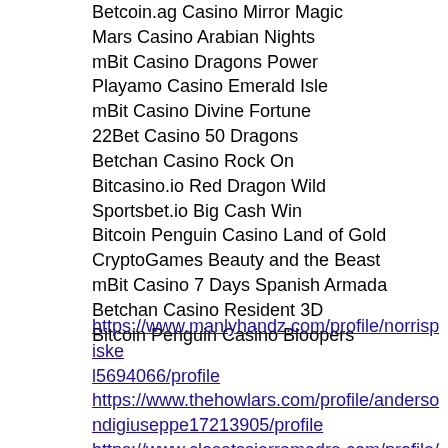Betcoin.ag Casino Mirror Magic
Mars Casino Arabian Nights
mBit Casino Dragons Power
Playamo Casino Emerald Isle
mBit Casino Divine Fortune
22Bet Casino 50 Dragons
Betchan Casino Rock On
Bitcasino.io Red Dragon Wild
Sportsbet.io Big Cash Win
Bitcoin Penguin Casino Land of Gold
CryptoGames Beauty and the Beast
mBit Casino 7 Days Spanish Armada
Betchan Casino Resident 3D
Bitcoin Penguin Casino Bloopers
https://www.manlyhandz.com/profile/norrispiske l5694066/profile
https://www.thehowlars.com/profile/andersondigiuseppe17213905/profile
https://www.closetssierramadre.com/profile/sarairaible3665096/profile
https://www.winstonslife.com/profile/miltonte...